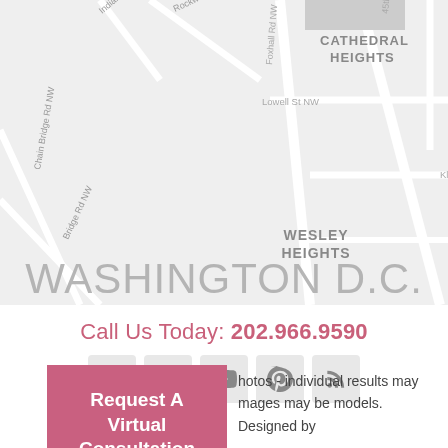[Figure (map): Street map of Washington D.C. area showing Wesley Heights and Cathedral Heights neighborhoods with streets including Foxhall Rd NW, Lowell St NW, Klingle St NW, New Mexico Ave NW, 44th St NW, 44th Pl NW, Bridge Rd NW, Chain Bridge Rd NW, Rockwood Pkwy, Indian Ln NW. Large text overlay reads WASHINGTON D.C. with WESLEY HEIGHTS above.]
Call Us Today: 202.966.9590
[Figure (infographic): Row of 5 social media icons: Instagram, Facebook, YouTube, Pinterest, RSS feed — each in a light gray rounded square.]
Request A Virtual Consultation
hotos - individual results may
mages may be models.
Designed by